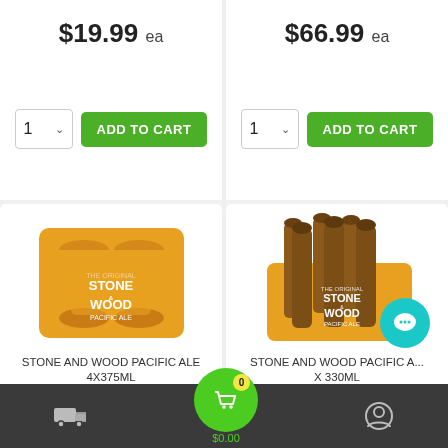$19.99 ea
ADD TO CART
$66.99 ea
ADD TO CART
[Figure (photo): Stone & Wood Pacific Ale 4x375ml cans in orange carton]
STONE AND WOOD PACIFIC ALE 4X375ML
[Figure (photo): Stone & Wood Pacific Ale brown glass bottles in orange carton]
STONE AND WOOD PACIFIC A... X 330ML
0  $0.00